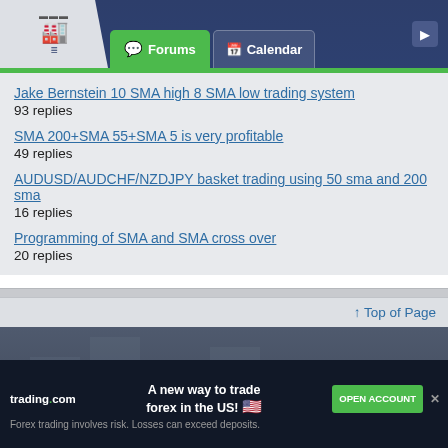Forums | Calendar
Jake Bernstein 10 SMA high 8 SMA low trading system
93 replies
SMA 200+SMA 55+SMA 5 is very profitable
49 replies
AUDUSD/AUDCHF/NZDJPY basket trading using 50 sma and 200 sma
16 replies
Programming of SMA and SMA cross over
20 replies
↑ Top of Page
[Figure (logo): trading.com logo with dark footer background and watermark]
trading.com  A new way to trade forex in the US!  OPEN ACCOUNT  Forex trading involves risk. Losses can exceed deposits.